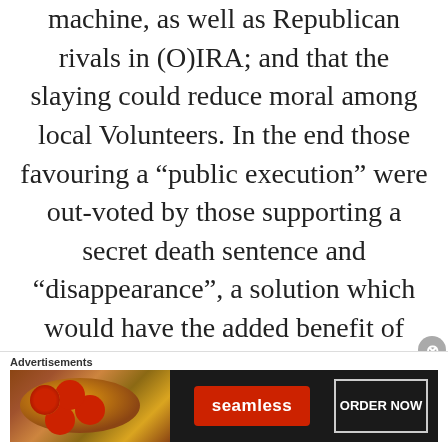machine, as well as Republican rivals in (O)IRA; and that the slaying could reduce moral among local Volunteers. In the end those favouring a “public execution” were out-voted by those supporting a secret death sentence and “disappearance”, a solution which would have the added benefit of
[Figure (screenshot): Advertisement banner for Seamless food delivery service featuring a pizza image on the left, a red Seamless logo button in the center, and an ORDER NOW button on the right, on a dark background.]